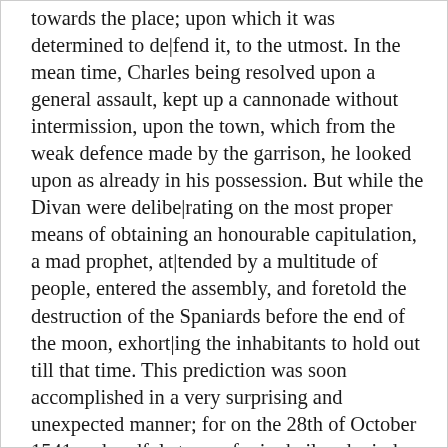towards the place; upon which it was determined to de|fend it, to the utmost. In the mean time, Charles being resolved upon a general assault, kept up a cannonade without intermission, upon the town, which from the weak defence made by the garrison, he looked upon as already in his possession. But while the Divan were delibe|rating on the most proper means of obtaining an honourable capitulation, a mad prophet, at|tended by a multitude of people, entered the assembly, and foretold the destruction of the Spaniards before the end of the moon, exhort|ing the inhabitants to hold out till that time. This prediction was soon accomplished in a very surprising and unexpected manner; for on the 28th of October 1541, a dreadful storm of rain, hail and wind, arose from the north|ward, attended with violent shocks of earth|quakes, and a dismal and universal darkness both by sea and land; so that the sun, moon, and elements, seemed to combine together for the destruction of the Spaniards. Eighty six ships, and fifteen gallies, were destroyed in that one night, with all their